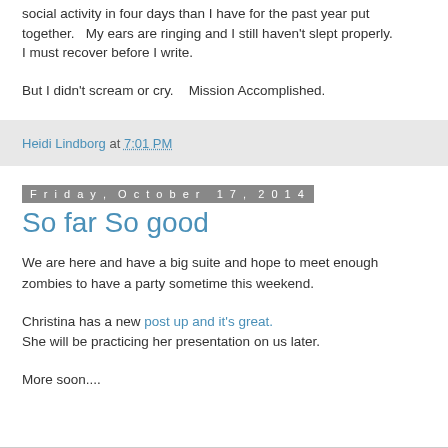social activity in four days than I have for the past year put together.   My ears are ringing and I still haven't slept properly.
I must recover before I write.
But I didn't scream or cry.    Mission Accomplished.
Heidi Lindborg at 7:01 PM
Friday, October 17, 2014
So far So good
We are here and have a big suite and hope to meet enough zombies to have a party sometime this weekend.
Christina has a new post up and it's great.
She will be practicing her presentation on us later.
More soon....